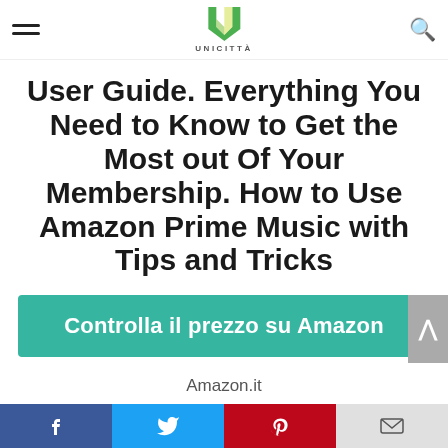UNICITTÀ
User Guide. Everything You Need to Know to Get the Most out Of Your Membership. How to Use Amazon Prime Music with Tips and Tricks
Controlla il prezzo su Amazon
Amazon.it
Features